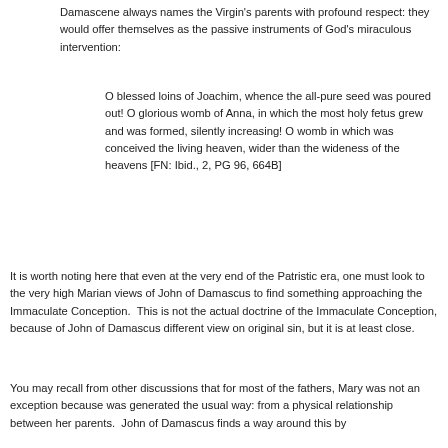Damascene always names the Virgin's parents with profound respect: they would offer themselves as the passive instruments of God's miraculous intervention:
O blessed loins of Joachim, whence the all-pure seed was poured out! O glorious womb of Anna, in which the most holy fetus grew and was formed, silently increasing! O womb in which was conceived the living heaven, wider than the wideness of the heavens [FN: Ibid., 2, PG 96, 664B]
It is worth noting here that even at the very end of the Patristic era, one must look to the very high Marian views of John of Damascus to find something approaching the Immaculate Conception.  This is not the actual doctrine of the Immaculate Conception, because of John of Damascus different view on original sin, but it is at least close.
You may recall from other discussions that for most of the fathers, Mary was not an exception because was generated the usual way: from a physical relationship between her parents.  John of Damascus finds a way around this by